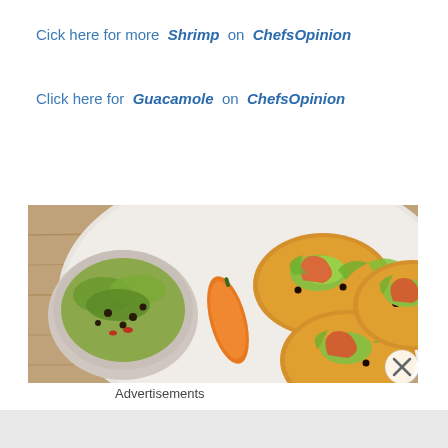Cick here for more Shrimp on ChefsOpinion
Click here for Guacamole on ChefsOpinion
[Figure (photo): Overhead view of shrimp tostadas topped with guacamole, black beans, and shredded lettuce on a white plate, with a bowl of guacamole salad on the side and an orange pepper in the center]
Advertisements